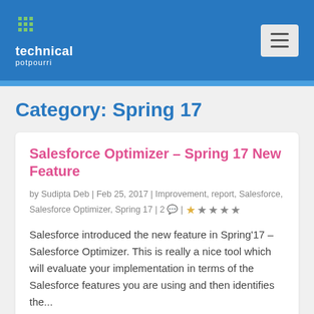technical potpourri
Category: Spring 17
Salesforce Optimizer – Spring 17 New Feature
by Sudipta Deb | Feb 25, 2017 | Improvement, report, Salesforce, Salesforce Optimizer, Spring 17 | 2 💬 |
Salesforce introduced the new feature in Spring'17 – Salesforce Optimizer. This is really a nice tool which will evaluate your implementation in terms of the Salesforce features you are using and then identifies the...